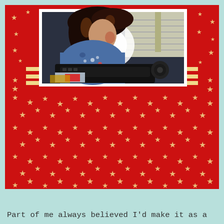[Figure (photo): A woman with curly dark hair wearing a blue denim shirt with small decorative pins/badges, seated and looking down at a typewriter. Bright light coming from behind/side. Red decorative border with gold/cream stars surrounds the photo. Gold stripe bands accent the frame.]
Part of me always believed I'd make it as a